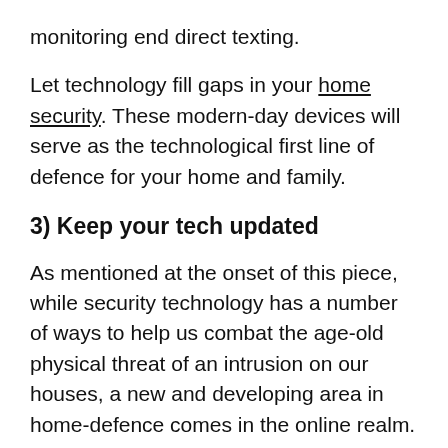monitoring end direct texting.
Let technology fill gaps in your home security. These modern-day devices will serve as the technological first line of defence for your home and family.
3) Keep your tech updated
As mentioned at the onset of this piece, while security technology has a number of ways to help us combat the age-old physical threat of an intrusion on our houses, a new and developing area in home-defence comes in the online realm.
While all these devices mentioned here are great ways to ward against straightforward attacks, they all carry that crucial vulnerability: wireless